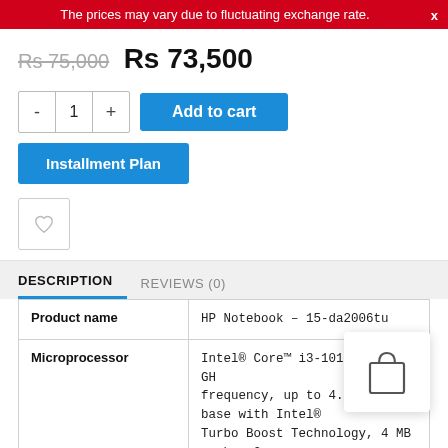The prices may vary due to fluctuating exchange rate.
Rs 75,000  Rs 73,500
Add to cart
Installment Plan
DESCRIPTION   REVIEWS (0)
|  |  |
| --- | --- |
| Product name | HP Notebook – 15-da2006tu |
| Microprocessor | Intel® Core™ i3-10110U (2.1 GHz base frequency, up to 4.1 GHz base with Intel® Turbo Boost Technology, 4 MB cache, 2 |